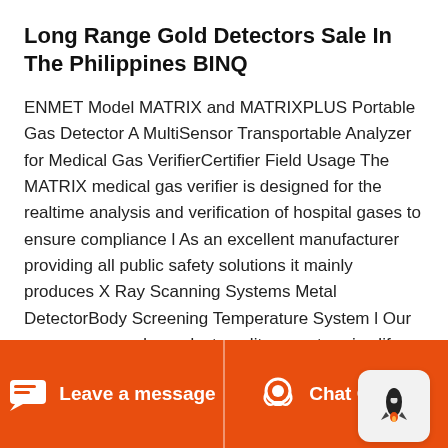Long Range Gold Detectors Sale In The Philippines BINQ
ENMET Model MATRIX and MATRIXPLUS Portable Gas Detector A MultiSensor Transportable Analyzer for Medical Gas VerifierCertifier Field Usage The MATRIX medical gas verifier is designed for the realtime analysis and verification of hospital gases to ensure compliance l As an excellent manufacturer providing all public safety solutions it mainly produces X Ray Scanning Systems Metal DetectorBody Screening Temperature System l Our company regards product quality as enterprise life strictly controls the every manufacturing part according to ISO9001
Leave a message   Chat Online